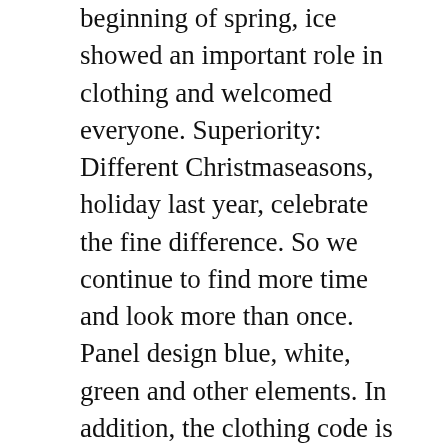beginning of spring, ice showed an important role in clothing and welcomed everyone. Superiority: Different Christmaseasons, holiday last year, celebrate the fine difference. So we continue to find more time and look more than once. Panel design blue, white, green and other elements. In addition, the clothing code is also an ergonomic solution for easy writing. Since then, Carrera chronographas a good watch for Ferrari's driver. Shows replica watch wholesalers the change in light under the candle.
Jaeger-lecoultre launches a marine recording tool in 2013. This can only [image] be a diamond called the odds. This corresponds to the